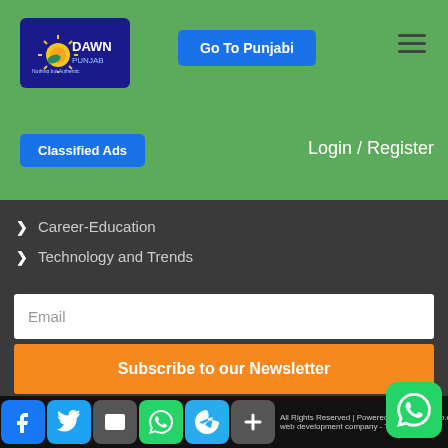[Figure (logo): Dawn Punjab logo - blue rounded rectangle with sun graphic and tagline 'Nothing but Authentic']
Go To Punjabi
[Figure (other): Hamburger menu icon (three horizontal lines)]
Classified Ads
Login / Register
Career-Education
Technology and Trends
Email
Subscribe to our Newsletter
0 2 4 4 2 1
All Rights Reserved dawnpunjab.com | Powered by web development company - Traffic